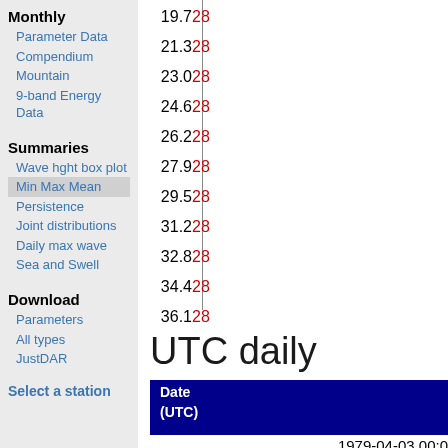Monthly
Parameter Data
Compendium
Mountain
9-band Energy Data
Summaries
Wave hght box plot
Min Max Mean
Persistence
Joint distributions
Daily max wave
Sea and Swell
Download
Parameters
All types
JustDAR
Select a station
19.728  21.328  23.028  24.628  26.228  27.928  29.528  31.228  32.828  34.428  36.128  37.728  39.428
UTC daily
| Date (UTC) |
| --- |
| 1979-04-03 00:0 |